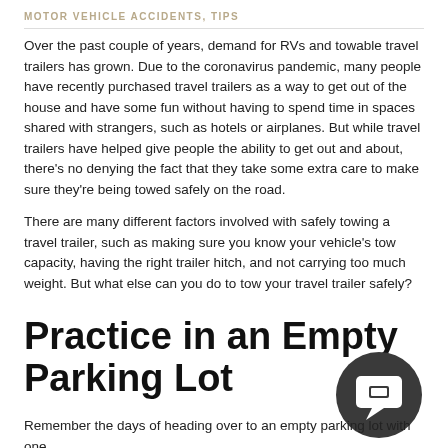MOTOR VEHICLE ACCIDENTS, TIPS
Over the past couple of years, demand for RVs and towable travel trailers has grown. Due to the coronavirus pandemic, many people have recently purchased travel trailers as a way to get out of the house and have some fun without having to spend time in spaces shared with strangers, such as hotels or airplanes. But while travel trailers have helped give people the ability to get out and about, there’s no denying the fact that they take some extra care to make sure they’re being towed safely on the road.
There are many different factors involved with safely towing a travel trailer, such as making sure you know your vehicle’s tow capacity, having the right trailer hitch, and not carrying too much weight. But what else can you do to tow your travel trailer safely?
Practice in an Empty Parking Lot
Remember the days of heading over to an empty parking lot with one